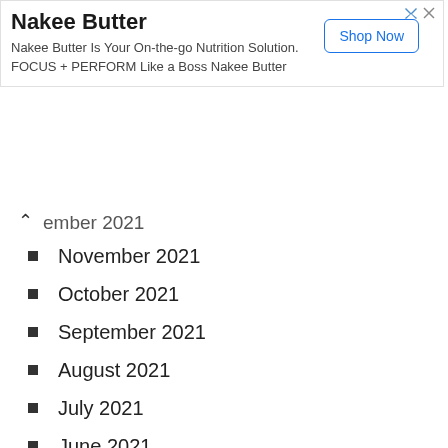[Figure (screenshot): Advertisement banner for Nakee Butter with Shop Now button]
…ember 2021 (partially visible, collapsed)
November 2021
October 2021
September 2021
August 2021
July 2021
June 2021
May 2021
April 2021
March 2021
February 2021
January 2021
December 2020
November 2020